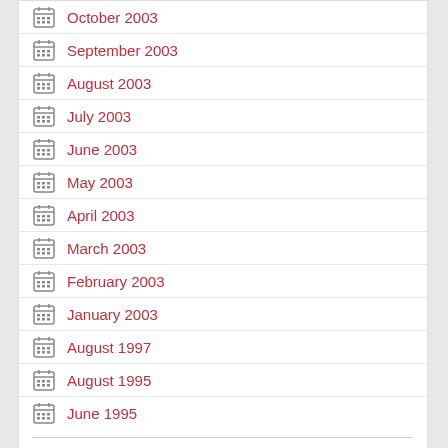October 2003
September 2003
August 2003
July 2003
June 2003
May 2003
April 2003
March 2003
February 2003
January 2003
August 1997
August 1995
June 1995